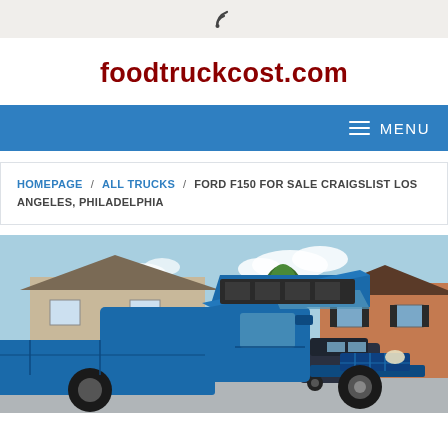RSS feed icon
foodtruckcost.com
MENU
HOMEPAGE / ALL TRUCKS / FORD F150 FOR SALE CRAIGSLIST LOS ANGELES, PHILADELPHIA
[Figure (photo): A blue Ford F150 pickup truck with the hood open, parked in a suburban residential area with houses, trees, and a parked dark SUV visible in the background. Taken on a clear day.]